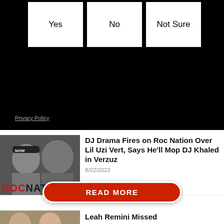| Yes | No | Not Sure |
| --- | --- | --- |
Privacy Policy
[Figure (photo): Photo of two men, one wearing a cap with 'NOW' text, overlaid with ROC NATION logo text]
DJ Drama Fires on Roc Nation Over Lil Uzi Vert, Says He'll Mop DJ Khaled in Verzuz
8/22/2022
READ MORE
[Figure (photo): Partial photo of people, cropped at bottom of page]
Leah Remini Missed